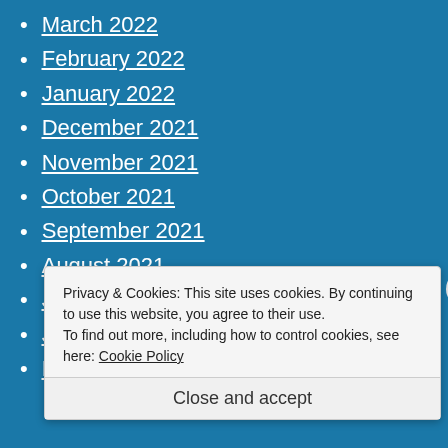March 2022
February 2022
January 2022
December 2021
November 2021
October 2021
September 2021
August 2021
July 2021
June 2021
May 2021
Privacy & Cookies: This site uses cookies. By continuing to use this website, you agree to their use. To find out more, including how to control cookies, see here: Cookie Policy
Close and accept